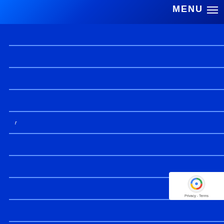MENU
[Figure (screenshot): Website navigation overlay with blue horizontal rows/menu items, a MENU hamburger button in the top right, and a reCAPTCHA Privacy-Terms badge in the bottom right corner.]